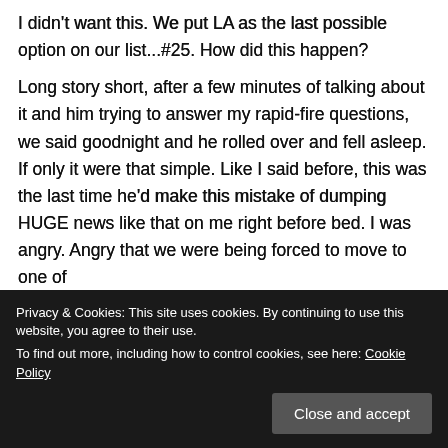I didn't want this. We put LA as the last possible option on our list...#25. How did this happen?
Long story short, after a few minutes of talking about it and him trying to answer my rapid-fire questions, we said goodnight and he rolled over and fell asleep. If only it were that simple. Like I said before, this was the last time he'd make this mistake of dumping HUGE news like that on me right before bed. I was angry. Angry that we were being forced to move to one of
future. Angry that I didn't get what I wanted- to
Privacy & Cookies: This site uses cookies. By continuing to use this website, you agree to their use.
To find out more, including how to control cookies, see here: Cookie Policy